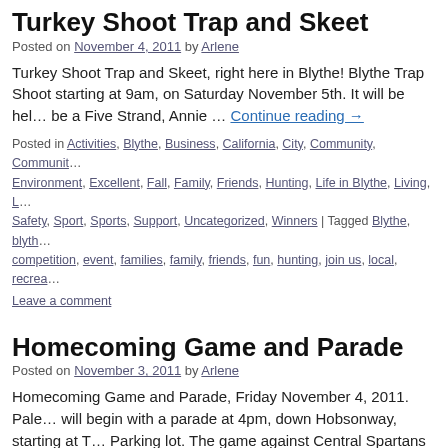Turkey Shoot Trap and Skeet
Posted on November 4, 2011 by Arlene
Turkey Shoot Trap and Skeet, right here in Blythe! Blythe Trap Shoot starting at 9am, on Saturday November 5th. It will be hel… be a Five Strand, Annie … Continue reading →
Posted in Activities, Blythe, Business, California, City, Community, Community, Environment, Excellent, Fall, Family, Friends, Hunting, Life in Blythe, Living, L… Safety, Sport, Sports, Support, Uncategorized, Winners | Tagged Blythe, blyth… competition, event, families, family, friends, fun, hunting, join us, local, recrea…
Leave a comment
Homecoming Game and Parade
Posted on November 3, 2011 by Arlene
Homecoming Game and Parade, Friday November 4, 2011. Pale… will begin with a parade at 4pm, down Hobsonway, starting at T… Parking lot. The game against Central Spartans will begin … Co…
Posted in Academic, Activities, Annual, Blythe, California, Cheerleading, City,